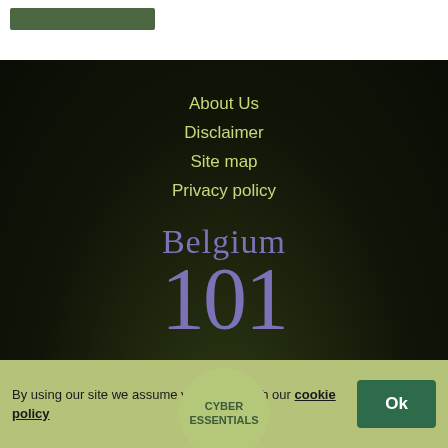[Figure (screenshot): Green button/bar in top white area]
About Us
Disclaimer
Site map
Privacy policy
[Figure (logo): Belgium 101 logo in purple serif font on dark background]
© 2022 MyTribe101 Limited
By using our site we assume you are ok with our cookie policy
[Figure (logo): Cyber Essentials circular badge]